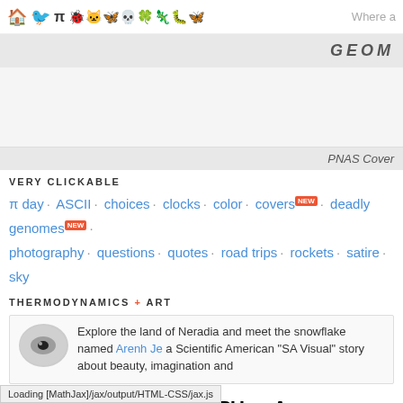Home · Twitter · Pi · [icons] · Where a...
GEOM
[Figure (other): Advertisement area (blank/gray)]
PNAS Cover
VERY CLICKABLE
π day · ASCII · choices · clocks · color · coversNEW · deadly genomesNEW · photography · questions · quotes · road trips · rockets · satire · sky
THERMODYNAMICS + ART
Explore the land of Neradia and meet the snowflake named Arenh Je... a Scientific American "SA Visual" story about beauty, imagination and
IT'S SNOWING IN MY CPU — A SNOWFLAKE CATA
She was all stars and arrows, squares and triangles of ice and light, like a church window; she was like a flower with many shining petals; she was d. But best of all, she was herself and
Loading [MathJax]/jax/output/HTML-CSS/jax.js